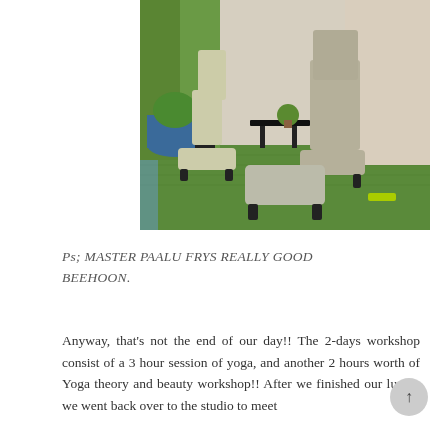[Figure (photo): Outdoor patio with two reclining chairs, footrests, and a small side table on artificial green grass turf, with potted plants in the background against a beige wall.]
Ps; MASTER PAALU FRYS REALLY GOOD BEEHOON.
Anyway, that's not the end of our day!! The 2-days workshop consist of a 3 hour session of yoga, and another 2 hours worth of Yoga theory and beauty workshop!! After we finished our lunch, we went back over to the studio to meet